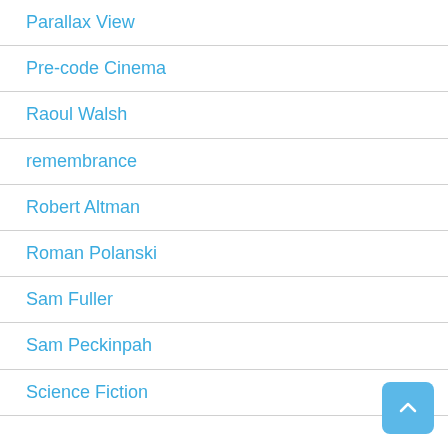Parallax View
Pre-code Cinema
Raoul Walsh
remembrance
Robert Altman
Roman Polanski
Sam Fuller
Sam Peckinpah
Science Fiction